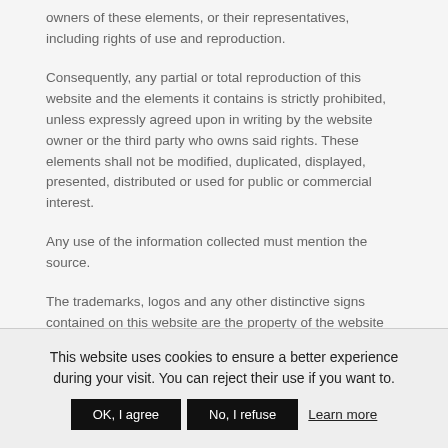owners of these elements, or their representatives, including rights of use and reproduction.
Consequently, any partial or total reproduction of this website and the elements it contains is strictly prohibited, unless expressly agreed upon in writing by the website owner or the third party who owns said rights. These elements shall not be modified, duplicated, displayed, presented, distributed or used for public or commercial interest.
Any use of the information collected must mention the source.
The trademarks, logos and any other distinctive signs contained on this website are the property of the website owner, or their use has been authorized by their respective owners. No right or license on any of these elements will be granted without the written permission of the website owner or any third party involved.
This website uses cookies to ensure a better experience during your visit. You can reject their use if you want to.